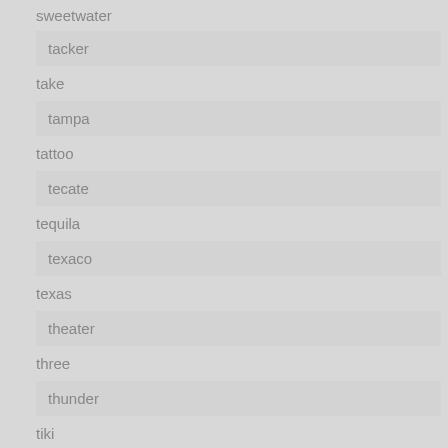sweetwater
tacker
take
tampa
tattoo
tecate
tequila
texaco
texas
theater
three
thunder
tiki
tire